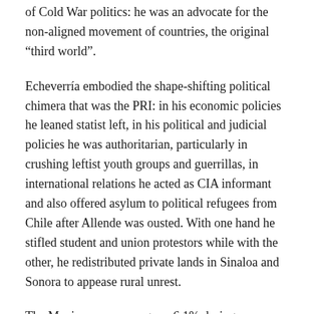of Cold War politics: he was an advocate for the non-aligned movement of countries, the original “third world”.
Echeverría embodied the shape-shifting political chimera that was the PRI: in his economic policies he leaned statist left, in his political and judicial policies he was authoritarian, particularly in crushing leftist youth groups and guerrillas, in international relations he acted as CIA informant and also offered asylum to political refugees from Chile after Allende was ousted. With one hand he stifled student and union protestors while with the other, he redistributed private lands in Sinaloa and Sonora to appease rural unrest.
The Mexican economy grew 6.1% during Echeverría’s presidency, but by the end of his term, escalating inflation and ballooning debt left the country in crisis